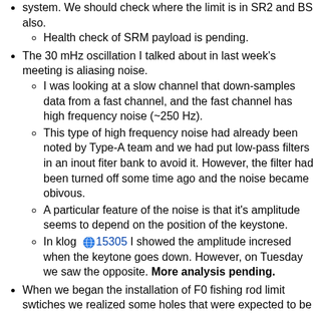Health check of SRM payload is pending.
The 30 mHz oscillation I talked about in last week's meeting is aliasing noise.
I was looking at a slow channel that down-samples data from a fast channel, and the fast channel has high frequency noise (~250 Hz).
This type of high frequency noise had already been noted by Type-A team and we had put low-pass filters in an inout fiter bank to avoid it. However, the filter had been turned off some time ago and the noise became obivous.
A particular feature of the noise is that it's amplitude seems to depend on the position of the keystone.
In klog 15305 I showed the amplitude incresed when the keytone goes down. However, on Tuesday we saw the opposite. More analysis pending.
When we began the installation of F0 fishing rod limit swtiches we realized some holes that were expected to be fully threaded were not threaded at